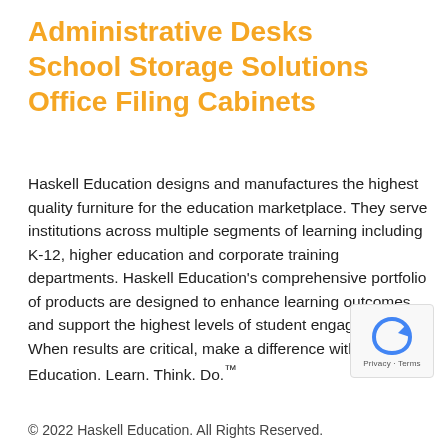Administrative Desks
School Storage Solutions
Office Filing Cabinets
Haskell Education designs and manufactures the highest quality furniture for the education marketplace. They serve institutions across multiple segments of learning including K-12, higher education and corporate training departments. Haskell Education's comprehensive portfolio of products are designed to enhance learning outcomes and support the highest levels of student engagement. When results are critical, make a difference with Haskell Education. Learn. Think. Do.™
[Figure (other): reCAPTCHA privacy badge with blue arrow icon and 'Privacy - Terms' text]
© 2022 Haskell Education. All Rights Reserved.